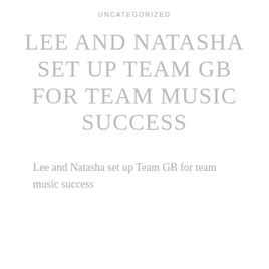UNCATEGORIZED
LEE AND NATASHA SET UP TEAM GB FOR TEAM MUSIC SUCCESS
Lee and Natasha set up Team GB for team music success